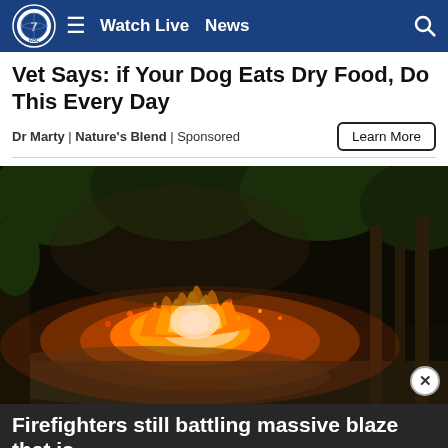Watch Live  News
Vet Says: if Your Dog Eats Dry Food, Do This Every Day
Dr Marty | Nature's Blend | Sponsored
[Figure (screenshot): News website navigation bar with ABC 7 logo, hamburger menu, Watch Live, News links, and search icon on dark blue background]
[Figure (photo): Nighttime wildfire scene showing bright orange and yellow flames burning through dark forest vegetation with smoke]
Firefighters still battling massive blaze that is